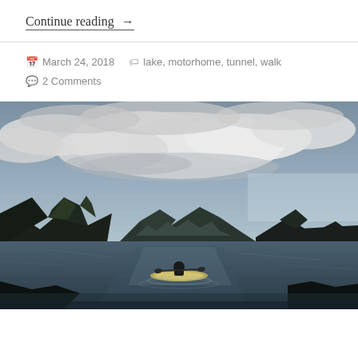Continue reading →
March 24, 2018   lake, motorhome, tunnel, walk   2 Comments
[Figure (photo): A person kayaking on a calm mountain lake with dramatic cloudy sky and mountain ranges in the background, viewed from behind the kayaker.]